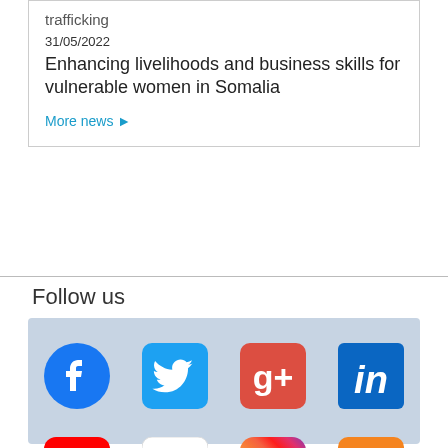trafficking
31/05/2022
Enhancing livelihoods and business skills for vulnerable women in Somalia
More news ▶
Follow us
[Figure (infographic): Social media icons grid: Facebook, Twitter, Google+, LinkedIn (top row); YouTube, Flickr, Instagram, RSS (bottom row)]